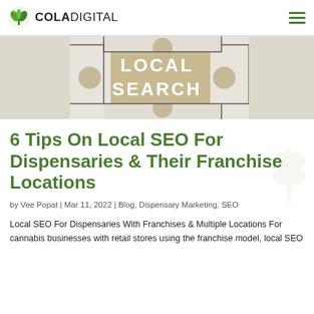COLADIGITAL
[Figure (photo): Puzzle pieces with the text LOCAL SEARCH engraved on a beige/tan center piece, surrounded by white interlocking puzzle pieces]
6 Tips On Local SEO For Dispensaries & Their Franchise Locations
by Vee Popat | Mar 11, 2022 | Blog, Dispensary Marketing, SEO
Local SEO For Dispensaries With Franchises & Multiple Locations For cannabis businesses with retail stores using the franchise model, local SEO